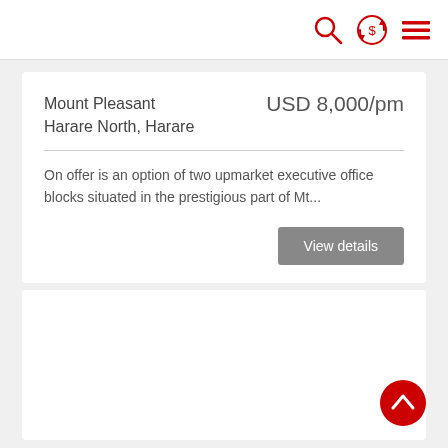Navigation bar with search, currency converter, and menu icons
Mount Pleasant
Harare North, Harare
USD 8,000/pm
On offer is an option of two upmarket executive office blocks situated in the prestigious part of Mt...
View details
[Figure (other): Empty white card placeholder for a second listing]